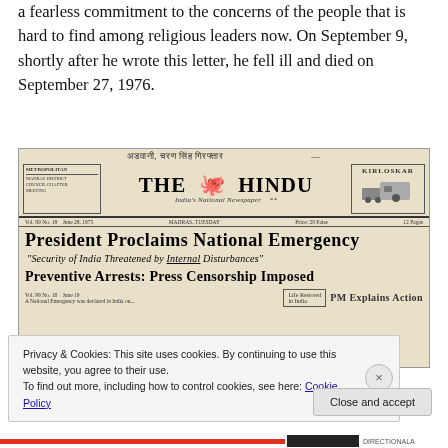a fearless commitment to the concerns of the people that is hard to find among religious leaders now. On September 9, shortly after he wrote this letter, he fell ill and died on September 27, 1976.
[Figure (photo): Front page of The Hindu newspaper showing headline 'President Proclaims National Emergency' with subheadlines 'Security of India Threatened by Internal Disturbances' and 'Preventive Arrests: Press Censorship Imposed' and 'PM Explains Action']
Privacy & Cookies: This site uses cookies. By continuing to use this website, you agree to their use.
To find out more, including how to control cookies, see here: Cookie Policy
Close and accept